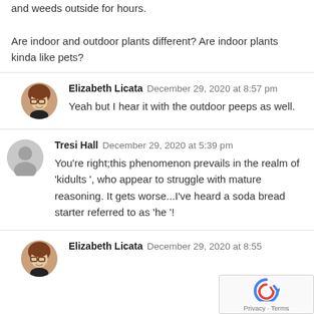and weeds outside for hours.
Are indoor and outdoor plants different? Are indoor plants kinda like pets?
Elizabeth Licata  December 29, 2020 at 8:57 pm
Yeah but I hear it with the outdoor peeps as well.
Tresi Hall  December 29, 2020 at 5:39 pm
You're right;this phenomenon prevails in the realm of 'kidults ', who appear to struggle with mature reasoning. It gets worse...I've heard a soda bread starter referred to as 'he '!
Elizabeth Licata  December 29, 2020 at 8:55